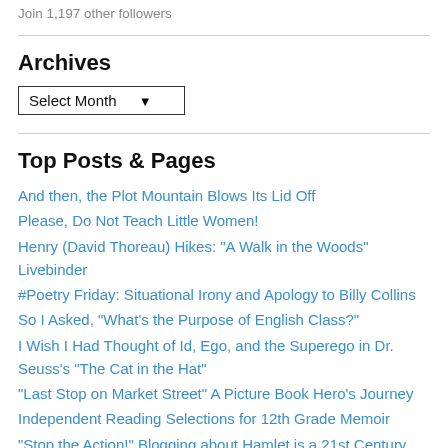Join 1,197 other followers
Archives
Select Month
Top Posts & Pages
And then, the Plot Mountain Blows Its Lid Off
Please, Do Not Teach Little Women!
Henry (David Thoreau) Hikes: "A Walk in the Woods" Livebinder
#Poetry Friday: Situational Irony and Apology to Billy Collins
So I Asked, "What's the Purpose of English Class?"
I Wish I Had Thought of Id, Ego, and the Superego in Dr. Seuss's "The Cat in the Hat"
"Last Stop on Market Street" A Picture Book Hero's Journey
Independent Reading Selections for 12th Grade Memoir
"Stop the Action!" Blogging about Hamlet is a 21st Century Skill